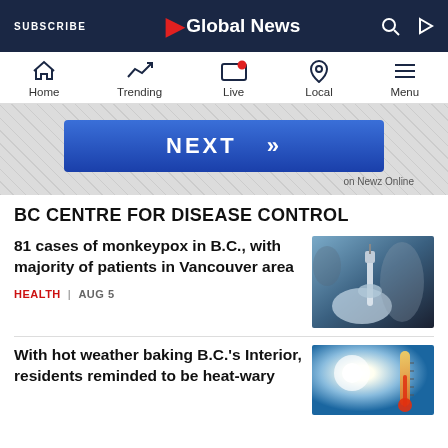SUBSCRIBE | Global News
[Figure (screenshot): Global News mobile app navigation bar with Home, Trending, Live, Local, Menu icons]
[Figure (other): NEXT advertisement banner button on Newz Online]
BC CENTRE FOR DISEASE CONTROL
81 cases of monkeypox in B.C., with majority of patients in Vancouver area
HEALTH | AUG 5
[Figure (photo): Close-up of gloved hands holding a syringe and vial for injection]
With hot weather baking B.C.'s Interior, residents reminded to be heat-wary
[Figure (photo): Thermometer against a bright sunny sky background]